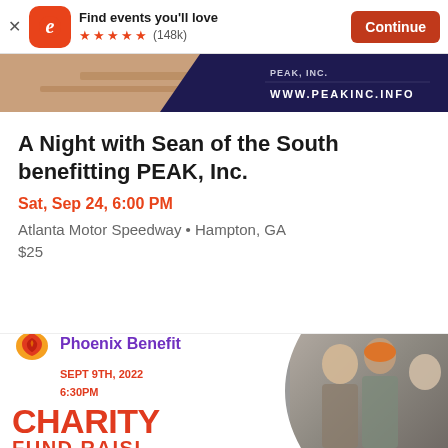[Figure (screenshot): App store banner with Eventbrite logo, 'Find events you'll love' text, 5-star rating with 148k reviews, and Continue button]
[Figure (photo): Event banner image showing sandy/wooden surface on left and dark navy triangle with PEAK Inc. and www.peakinc.info text on right]
A Night with Sean of the South benefitting PEAK, Inc.
Sat, Sep 24, 6:00 PM
Atlanta Motor Speedway • Hampton, GA
$25
[Figure (infographic): Phoenix Benefit charity event banner with phoenix logo, 'Phoenix Benefit SEPT 9TH, 2022 6:30PM', large red CHARITY text, and photo of people on right]